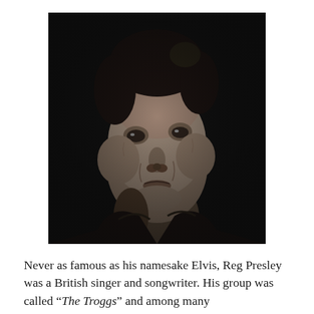[Figure (photo): Black and white portrait photograph of a middle-aged man with dark hair, gazing slightly to the left, wearing a dark leather jacket. The background is very dark/black.]
Never as famous as his namesake Elvis, Reg Presley was a British singer and songwriter. His group was called “The Troggs” and among many